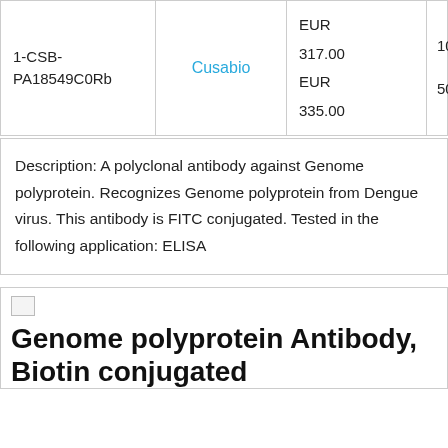| Catalog ID | Supplier | Price | Size |
| --- | --- | --- | --- |
| 1-CSB-PA18549C0Rb | Cusabio | EUR 317.00
EUR 335.00 | 100ug
50ug |
Description: A polyclonal antibody against Genome polyprotein. Recognizes Genome polyprotein from Dengue virus. This antibody is FITC conjugated. Tested in the following application: ELISA
[Figure (other): Small broken image icon placeholder]
Genome polyprotein Antibody, Biotin conjugated